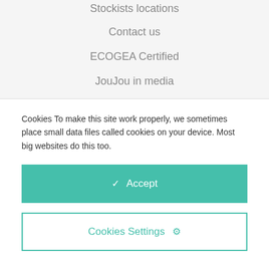Stockists locations
Contact us
ECOGEA Certified
JouJou in media
Cookies To make this site work properly, we sometimes place small data files called cookies on your device. Most big websites do this too.
✓ Accept
Cookies Settings ⚙